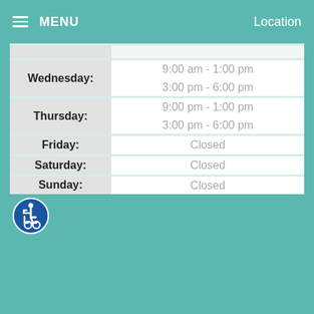MENU    Location
| Day | Hours |
| --- | --- |
| Wednesday: | 9:00 am - 1:00 pm
3:00 pm - 6:00 pm |
| Thursday: | 9:00 pm - 1:00 pm
3:00 pm - 6:00 pm |
| Friday: | Closed |
| Saturday: | Closed |
| Sunday: | Closed |